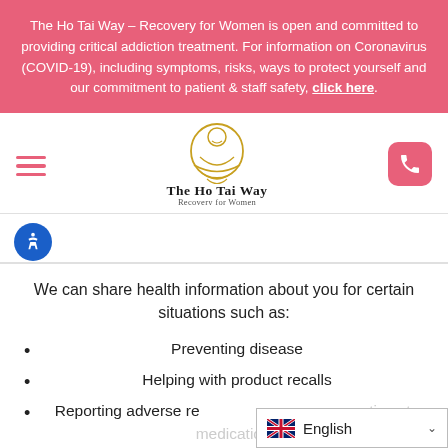The Ho Tai Way – Recovery for Women is open and committed to providing critical addiction treatment. For information on Coronavirus (COVID-19), including symptoms, risks, ways to protect yourself and our commitment to patient & staff safety, click here.
[Figure (logo): The Ho Tai Way – Recovery for Women logo with golden Buddha figure and text]
We can share health information about you for certain situations such as:
Preventing disease
Helping with product recalls
Reporting adverse reactions to medications
Reporting suspected